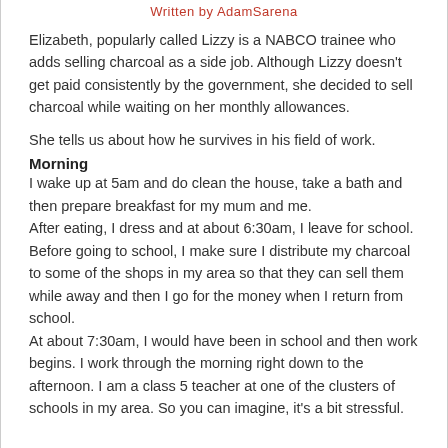Written by AdamSarena
Elizabeth, popularly called Lizzy is a NABCO trainee who adds selling charcoal as a side job. Although Lizzy doesn't get paid consistently by the government, she decided to sell charcoal while waiting on her monthly allowances.
She tells us about how he survives in his field of work.
Morning
I wake up at 5am and do clean the house, take a bath and then prepare breakfast for my mum and me.
After eating, I dress and at about 6:30am, I leave for school.
Before going to school, I make sure I distribute my charcoal to some of the shops in my area so that they can sell them while away and then I go for the money when I return from school.
At about 7:30am, I would have been in school and then work begins. I work through the morning right down to the afternoon. I am a class 5 teacher at one of the clusters of schools in my area. So you can imagine, it's a bit stressful.